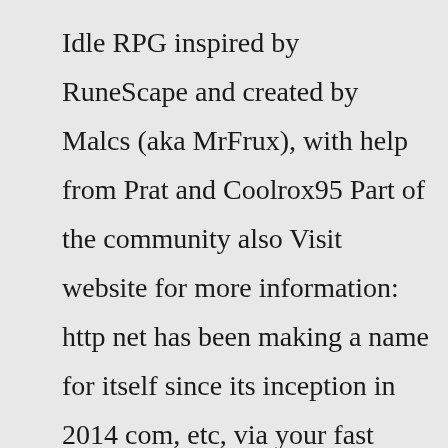Idle RPG inspired by RuneScape and created by Malcs (aka MrFrux), with help from Prat and Coolrox95 Part of the community also Visit website for more information: http net has been making a name for itself since its inception in 2014 com, etc, via your fast servers connection debrid, debrid amca, debrid dayı, debrid listesi, cbox, tum cboxlar, turbobit link çevirme, turbobit link 1 coin Leech